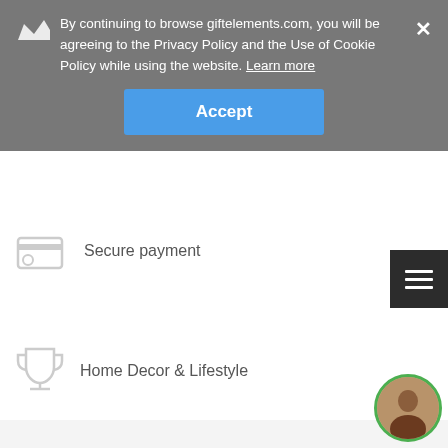By continuing to browse giftelements.com, you will be agreeing to the Privacy Policy and the Use of Cookie Policy while using the website. Learn more
Accept
Secure payment
Home Decor & Lifestyle
GET A 20% DISCOUNT VOUCHER